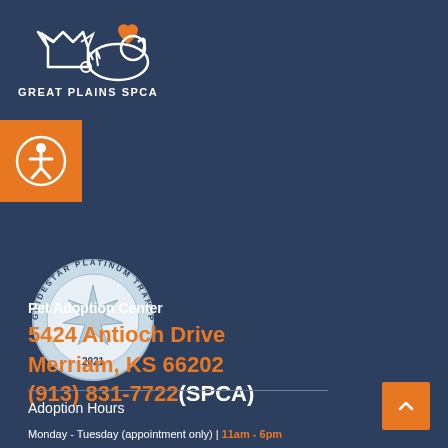[Figure (logo): Great Plains SPCA logo with animal silhouettes and orange heart, white outline illustration on dark blue background]
[Figure (logo): Orange square accessibility badge with wheelchair/person icon in white circle]
[Figure (logo): GuideStar Platinum Transparency 2021 circular seal badge]
Pet Adoption Center
5424 Antioch Drive
Merriam, KS 66202
(913) 831-7722(SPCA)
Adoption Hours
Monday - Tuesday (appointment only) | 11am - 6pm